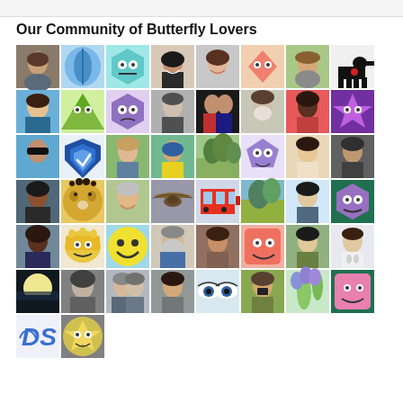Our Community of Butterfly Lovers
[Figure (photo): A grid of user profile avatars showing a community of butterfly lovers. The grid contains approximately 50 profile pictures arranged in 7 rows of 8 columns plus a final partial row of 2. Images include photos of real people, cartoon characters, animals (leopard, dog), nature scenes (trees, flowers), and illustrated game-style character icons on colored backgrounds (teal, purple, green).]